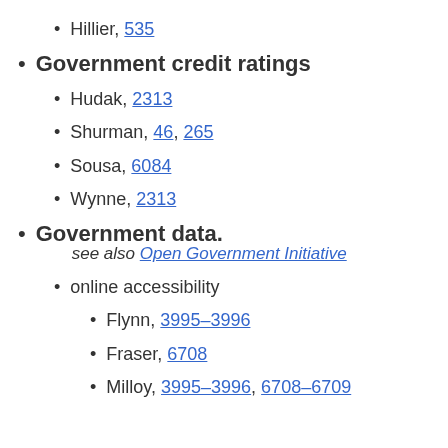Hillier, 535
Government credit ratings
Hudak, 2313
Shurman, 46, 265
Sousa, 6084
Wynne, 2313
Government data. see also Open Government Initiative
online accessibility
Flynn, 3995–3996
Fraser, 6708
Milloy, 3995–3996, 6708–6709